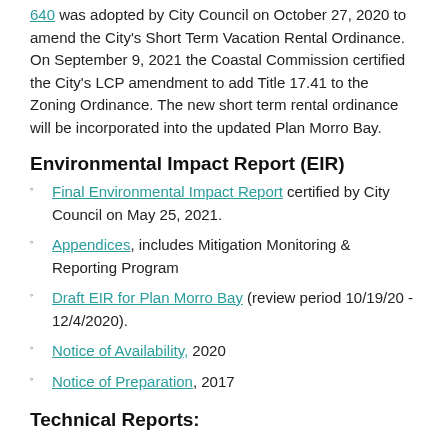640 was adopted by City Council on October 27, 2020 to amend the City's Short Term Vacation Rental Ordinance. On September 9, 2021 the Coastal Commission certified the City's LCP amendment to add Title 17.41 to the Zoning Ordinance. The new short term rental ordinance will be incorporated into the updated Plan Morro Bay.
Environmental Impact Report (EIR)
Final Environmental Impact Report certified by City Council on May 25, 2021.
Appendices, includes Mitigation Monitoring & Reporting Program
Draft EIR for Plan Morro Bay (review period 10/19/20 - 12/4/2020).
Notice of Availability, 2020
Notice of Preparation, 2017
Technical Reports: